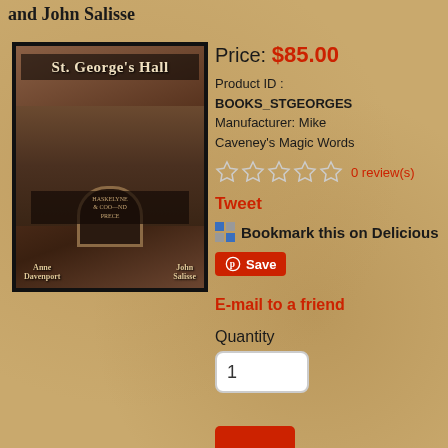and John Salisse
[Figure (photo): Book cover of 'St. George's Hall: Behind the Scenes at England's Home of Mystery' by Anne Davenport and John Salisse. Sepia-toned image of a historic building facade.]
Price: $85.00
Product ID : BOOKS_STGEORGES
Manufacturer: Mike Caveney's Magic Words
0 review(s)
Tweet
Bookmark this on Delicious
Save
E-mail to a friend
Quantity
1